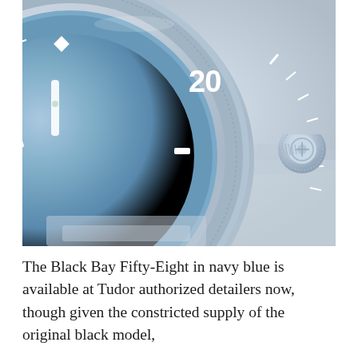[Figure (photo): Close-up photograph of a Tudor Black Bay Fifty-Eight watch with light blue/navy dial and bezel showing '20' marking, silver case and crown visible on the right side, shot against a light grey background]
The Black Bay Fifty-Eight in navy blue is available at Tudor authorized detailers now, though given the constricted supply of the original black model,